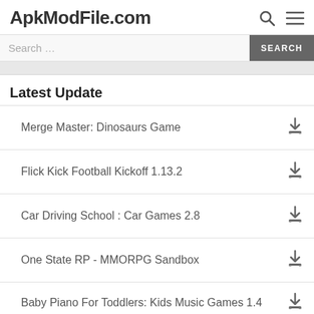ApkModFile.com
Latest Update
Merge Master: Dinosaurs Game
Flick Kick Football Kickoff 1.13.2
Car Driving School : Car Games 2.8
One State RP - MMORPG Sandbox
Baby Piano For Toddlers: Kids Music Games 1.4